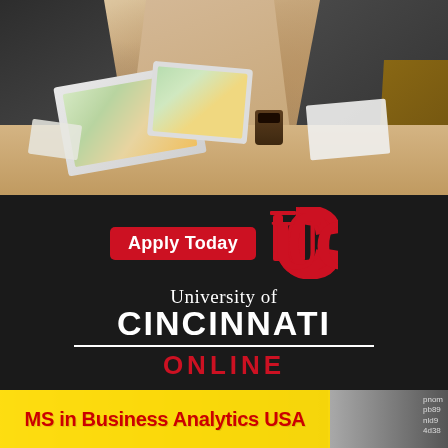[Figure (photo): Business meeting photo showing people at a table with laptops, tablets, papers, and a coffee cup]
[Figure (logo): University of Cincinnati Online logo with Apply Today button on dark background]
MS in Business Analytics USA